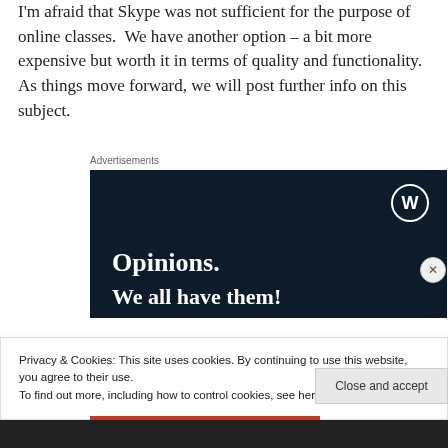I'm afraid that Skype was not sufficient for the purpose of online classes.  We have another option – a bit more expensive but worth it in terms of quality and functionality.  As things move forward, we will post further info on this subject.
Advertisements
[Figure (screenshot): WordPress advertisement banner with dark navy background showing WordPress logo, text 'Opinions.' and 'We all have them!']
Privacy & Cookies: This site uses cookies. By continuing to use this website, you agree to their use.
To find out more, including how to control cookies, see here: Cookie Policy
Close and accept